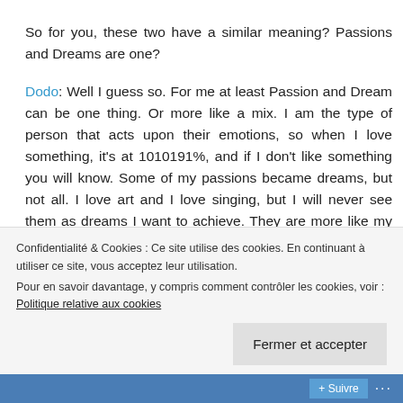So for you, these two have a similar meaning? Passions and Dreams are one?
Dodo: Well I guess so. For me at least Passion and Dream can be one thing. Or more like a mix. I am the type of person that acts upon their emotions, so when I love something, it's at 1010191%, and if I don't like something you will know. Some of my passions became dreams, but not all. I love art and I love singing, but I will never see them as dreams I want to achieve. They are more like my getaway passions to
Confidentialité & Cookies : Ce site utilise des cookies. En continuant à utiliser ce site, vous acceptez leur utilisation. Pour en savoir davantage, y compris comment contrôler les cookies, voir : Politique relative aux cookies
Fermer et accepter
Suivre